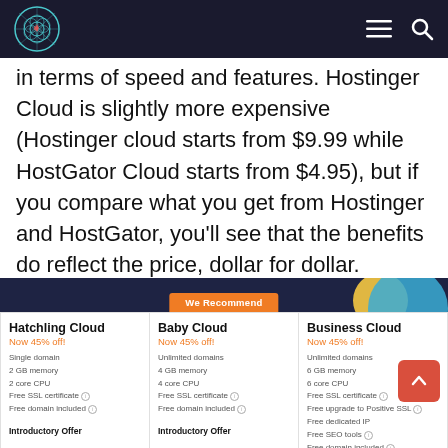Navigation bar with logo and menu/search icons
in terms of speed and features. Hostinger Cloud is slightly more expensive (Hostinger cloud starts from $9.99 while HostGator Cloud starts from $4.95), but if you compare what you get from Hostinger and HostGator, you'll see that the benefits do reflect the price, dollar for dollar.
[Figure (screenshot): Pricing cards comparison for HostGator Cloud hosting plans: Hatchling Cloud, Baby Cloud (recommended), and Business Cloud, each showing Now 45% off, features list, and Introductory Offer label]
Hatchling Cloud
Now 45% off!
Single domain
2 GB memory
2 core CPU
Free SSL certificate
Free domain included
Introductory Offer
Baby Cloud
Now 45% off!
Unlimited domains
4 GB memory
4 core CPU
Free SSL certificate
Free domain included
Introductory Offer
Business Cloud
Now 45% off!
Unlimited domains
6 GB memory
6 core CPU
Free SSL certificate
Free upgrade to Positive SSL
Free dedicated IP
Free SEO tools
Free domain included
Introductory Offer